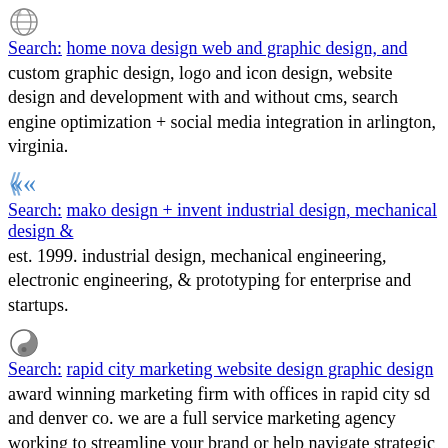Search: home nova design web and graphic design, and
custom graphic design, logo and icon design, website design and development with and without cms, search engine optimization + social media integration in arlington, virginia.
Search: mako design + invent industrial design, mechanical design &
est. 1999. industrial design, mechanical engineering, electronic engineering, & prototyping for enterprise and startups.
Search: rapid city marketing website design graphic design
award winning marketing firm with offices in rapid city sd and denver co. we are a full service marketing agency working to streamline your brand or help navigate strategic marketing paths for your business. we specialize in